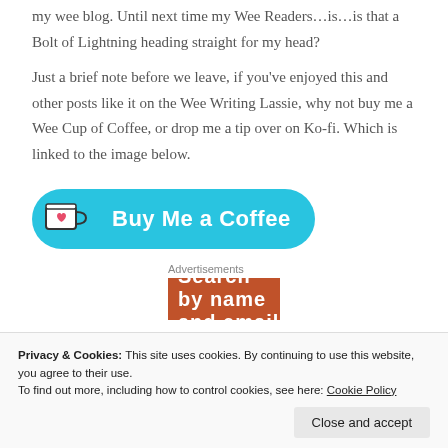my wee blog. Until next time my Wee Readers…is…is that a Bolt of Lightning heading straight for my head?
Just a brief note before we leave, if you've enjoyed this and other posts like it on the Wee Writing Lassie, why not buy me a Wee Cup of Coffee, or drop me a tip over on Ko-fi. Which is linked to the image below.
[Figure (other): Buy Me a Coffee button — cyan rounded rectangle with coffee cup icon and white bold text reading 'Buy Me a Coffee']
Advertisements
[Figure (other): Orange advertisement banner with white bold text partially visible reading 'Search by name and email']
Privacy & Cookies: This site uses cookies. By continuing to use this website, you agree to their use.
To find out more, including how to control cookies, see here: Cookie Policy
Close and accept